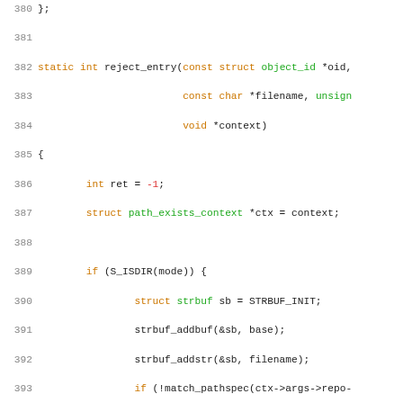[Figure (screenshot): Source code listing in C showing functions reject_entry and path_exists with syntax highlighting. Line numbers 380-409 are visible. Keywords in orange, types/identifiers in green, numbers in red.]